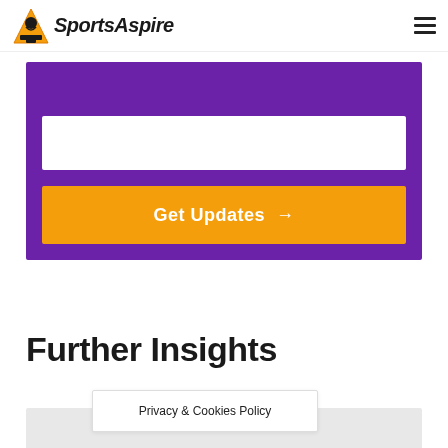SportsAspire
[Figure (screenshot): Purple subscription box with white email input field and orange 'Get Updates →' button]
Further Insights
Privacy & Cookies Policy
[Figure (photo): Partial image at the bottom of the page, appears to show a pink/athletic subject]